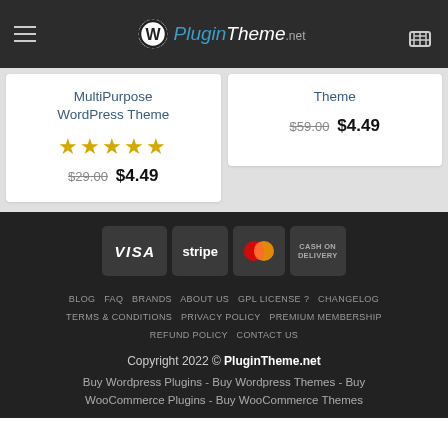WP PluginTheme.net
MultiPurpose WordPress Theme ★★★★★ $29.00 $4.49
Theme $59.00 $4.49
[Figure (infographic): Payment method badges: VISA, stripe, MasterCard, CASH ON DELIVERY]
BLOG  FAQ  BRANDS  ABOUT US  GPL LICENSE ?  CHANGELOG  TERMS & CONDITIONS  PRIVACY POLICY  PREMIUM MEMBERSHIP  REFUND POLICY  CONTACT US
Copyright 2022 © PluginTheme.net
Buy Wordpress Plugins - Buy Wordpress Themes - Buy WooCommerce Plugins - Buy WooCommerce Themes